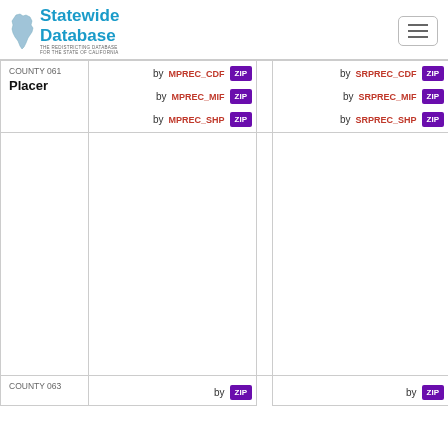Statewide Database — The Redistricting Database for the State of California
| County | MPREC files by ZIP | SRPREC files by ZIP |
| --- | --- | --- |
| COUNTY 061 Placer | by MPREC_CDF ZIP, by MPREC_MIF ZIP, by MPREC_SHP ZIP | by SRPREC_CDF ZIP, by SRPREC_MIF ZIP, by SRPREC_SHP ZIP |
| COUNTY 063 | by ZIP | by ZIP |